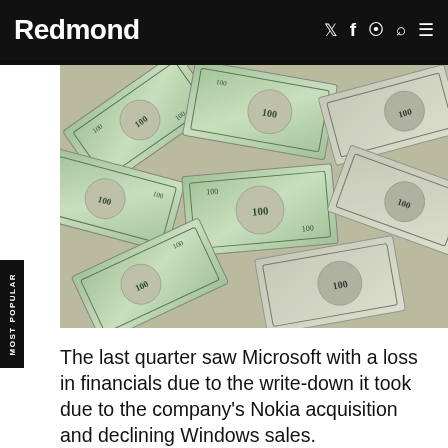Redmond
[Figure (photo): Pile of scattered US $100 dollar bills covering the entire image area]
The last quarter saw Microsoft with a loss in financials due to the write-down it took due to the company's Nokia acquisition and declining Windows sales.
Microsoft on Tuesday reported that the loss amounted to $0.40 per share on revenues of $22.2 billion, which represented a 5% drop in sales